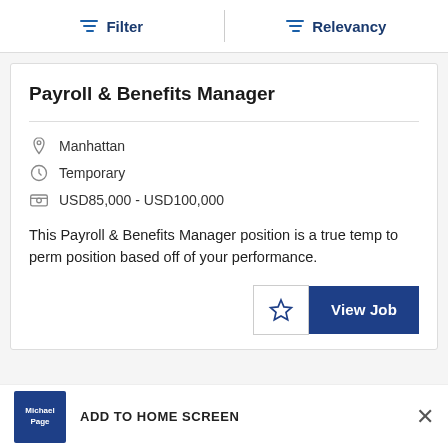Filter  Relevancy
Payroll & Benefits Manager
Manhattan
Temporary
USD85,000 - USD100,000
This Payroll & Benefits Manager position is a true temp to perm position based off of your performance.
ADD TO HOME SCREEN